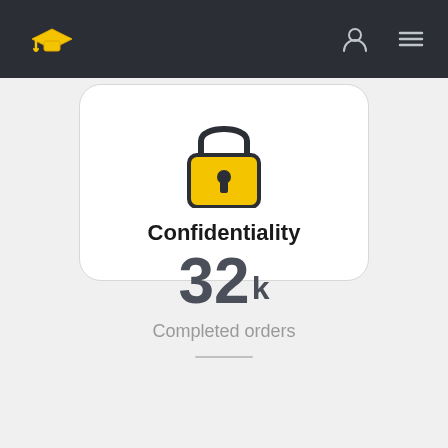[Figure (logo): App navigation bar with yellow graduation cap logo on dark background, user icon and hamburger menu on the right]
[Figure (illustration): White card with a padlock icon (dark outline with yellow body) and bold text 'Confidentiality' below it]
Confidentiality
32k
Completed orders